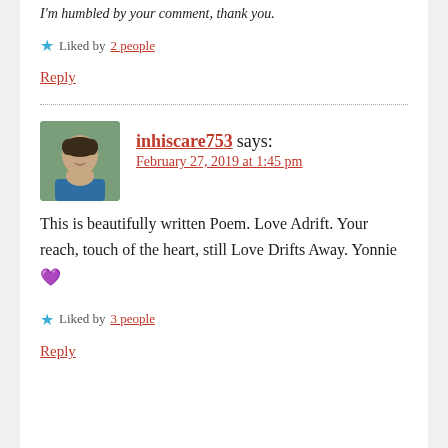I'm humbled by your comment, thank you.
Liked by 2 people
Reply
inhiscare753 says:
February 27, 2019 at 1:45 pm
This is beautifully written Poem. Love Adrift. Your reach, touch of the heart, still Love Drifts Away. Yonnie 💜
Liked by 3 people
Reply